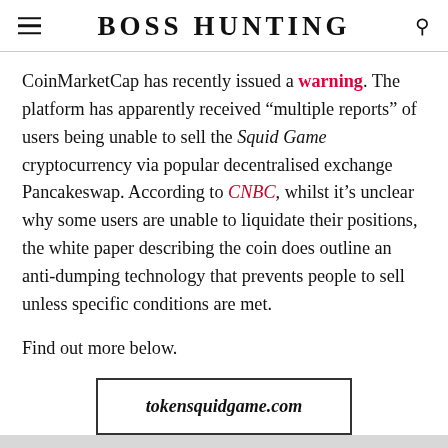BOSS HUNTING
CoinMarketCap has recently issued a warning. The platform has apparently received “multiple reports” of users being unable to sell the Squid Game cryptocurrency via popular decentralised exchange Pancakeswap. According to CNBC, whilst it’s unclear why some users are unable to liquidate their positions, the white paper describing the coin does outline an anti-dumping technology that prevents people to sell unless specific conditions are met.
Find out more below.
[Figure (other): Button/link with bold italic text: tokensquidgame.com]